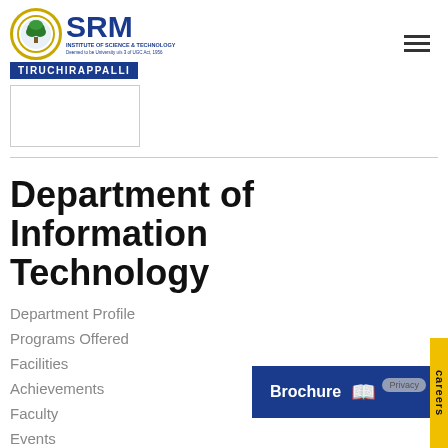[Figure (logo): SRM Institute of Science and Technology, Tiruchirappalli logo with golden circular emblem and blue TIRUCHIRAPPALLI bar]
[Figure (photo): Rectangular image placeholder below the logo]
Department of Information Technology
Department Profile
Programs Offered
Facilities
Achievements
Faculty
Events